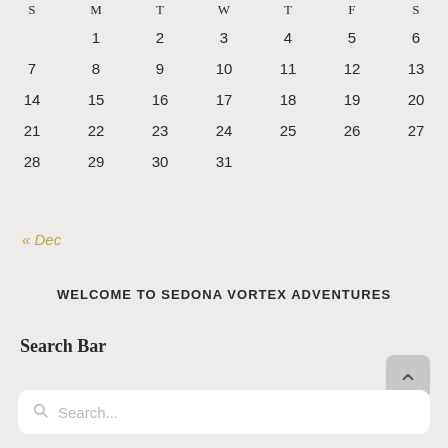| S | M | T | W | T | F | S |
| --- | --- | --- | --- | --- | --- | --- |
|  | 1 | 2 | 3 | 4 | 5 | 6 |
| 7 | 8 | 9 | 10 | 11 | 12 | 13 |
| 14 | 15 | 16 | 17 | 18 | 19 | 20 |
| 21 | 22 | 23 | 24 | 25 | 26 | 27 |
| 28 | 29 | 30 | 31 |  |  |  |
« Dec
WELCOME TO SEDONA VORTEX ADVENTURES
Search Bar
Search...